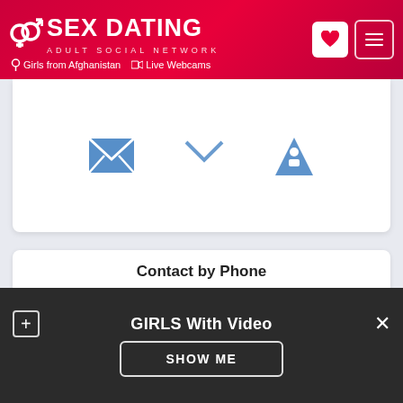SEX DATING ADULT SOCIAL NETWORK — Girls from Afghanistan | Live Webcams
[Figure (screenshot): Three icons: envelope (message), chevron-down, and a person/upload icon shown in blue in a white card area]
Contact by Phone
See phone number
General details
GIRLS With Video
SHOW ME